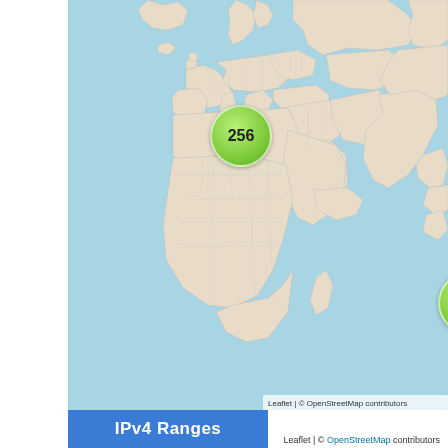[Figure (map): World map (Leaflet / OpenStreetMap) showing two green cluster markers: '256' over Western Europe (UK/France area) and '512' over Southeast Asia (near Malaysia/Indonesia). The map is light blue for oceans and light beige/white for land with political boundaries drawn in thin lines.]
Leaflet | © OpenStreetMap contributors
IPv4 Ranges